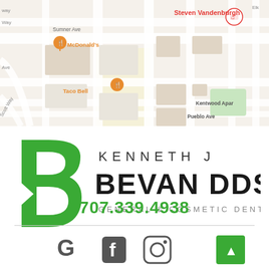[Figure (map): Google Maps screenshot showing the area around 3434 Villa Lane, Napa CA. Shows McDonald's and Taco Bell markers in orange, a red pin labeled 'Steven Vandenburgh' at Professional Dr, street names including Sumner Ave, Windsor St, Laguna St, Pueblo Ave, Kentwood Apts, Mc Pherson, La Homa Dr, Piedmont Ave, Beard Rd, Scott Way.]
[Figure (logo): Kenneth J Bevan DDS logo with green stylized letter B and text 'KENNETH J BEVAN DDS GENERAL & COSMETIC DENTISTRY']
3434 Villa Lane Ste 100 Napa, CA 94558
707.339.4938
[Figure (other): Social media icons: Google G, Facebook f, Instagram camera icon, and a green scroll-to-top button with upward arrow]